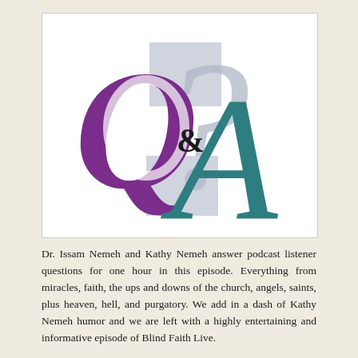[Figure (logo): Q&A logo graphic with a large purple Q, a grey question mark, a small black ampersand, and a large teal A on a white background with grey rectangular accents.]
Dr. Issam Nemeh and Kathy Nemeh answer podcast listener questions for one hour in this episode. Everything from miracles, faith, the ups and downs of the church, angels, saints, plus heaven, hell, and purgatory. We add in a dash of Kathy Nemeh humor and we are left with a highly entertaining and informative episode of Blind Faith Live.